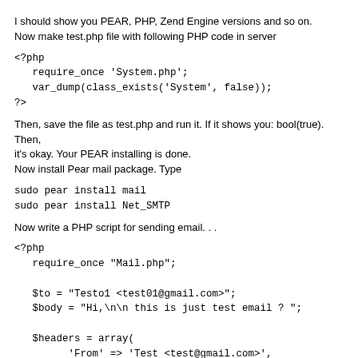I should show you PEAR, PHP, Zend Engine versions and so on.
Now make test.php file with following PHP code in server
<?php
   require_once 'System.php';
   var_dump(class_exists('System', false));
?>
Then, save the file as test.php and run it. If it shows you: bool(true). Then, it's okay. Your PEAR installing is done.
Now install Pear mail package. Type
sudo pear install mail
sudo pear install Net_SMTP
Now write a PHP script for sending email. . .
<?php
   require_once "Mail.php";

   $to = "Testo1 <test01@gmail.com>";
   $body = "Hi,\n\n this is just test email ? ";

   $headers = array(
         'From' => 'Test <test@gmail.com>',
         'To' => $to,